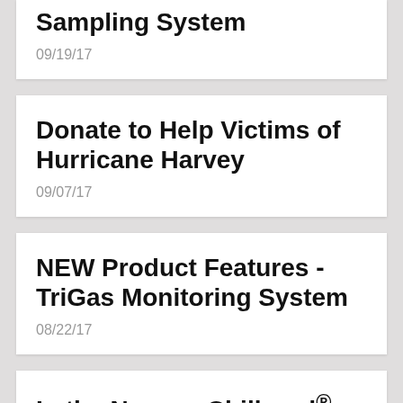Sampling System
09/19/17
Donate to Help Victims of Hurricane Harvey
09/07/17
NEW Product Features - TriGas Monitoring System
08/22/17
In the News -- Chillgard®